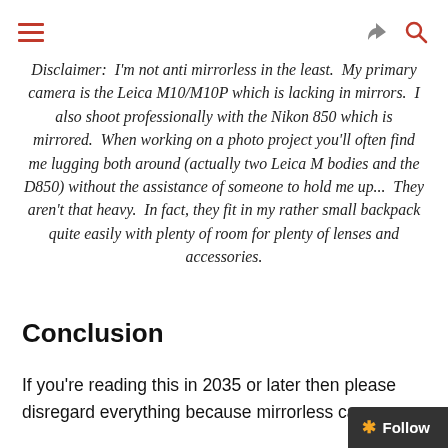Menu / Share / Search icons
Disclaimer:  I'm not anti mirrorless in the least.  My primary camera is the Leica M10/M10P which is lacking in mirrors.  I also shoot professionally with the Nikon 850 which is mirrored.  When working on a photo project you'll often find me lugging both around (actually two Leica M bodies and the D850) without the assistance of someone to hold me up...  They aren't that heavy.  In fact, they fit in my rather small backpack quite easily with plenty of room for plenty of lenses and accessories.
Conclusion
If you're reading this in 2035 or later then please disregard everything because mirrorless cam